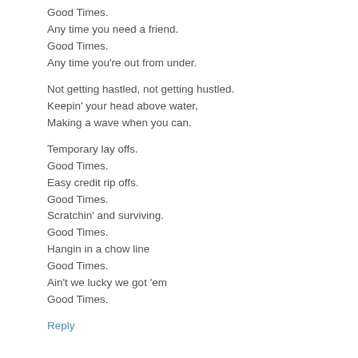Good Times.
Any time you need a friend.
Good Times.
Any time you're out from under.
Not getting hastled, not getting hustled.
Keepin' your head above water,
Making a wave when you can.
Temporary lay offs.
Good Times.
Easy credit rip offs.
Good Times.
Scratchin' and surviving.
Good Times.
Hangin in a chow line
Good Times.
Ain't we lucky we got 'em
Good Times.
Reply